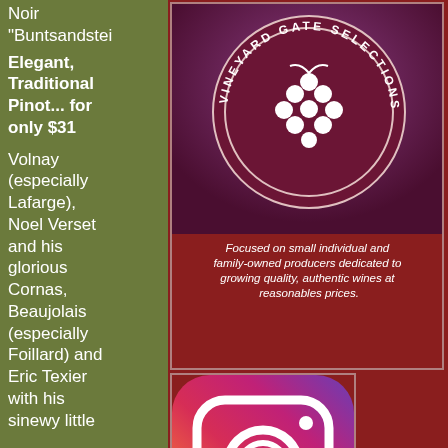Noir "Buntsandstei
Elegant, Traditional Pinot... for only $31
Volnay (especially Lafarge), Noel Verset and his glorious Cornas, Beaujolais (especially Foillard) and Eric Texier with his sinewy little
[Figure (logo): Vineyard Gate Selections circular logo with grape cluster, text: Focused on small individual and family-owned producers dedicated to growing quality, authentic wines at reasonables prices.]
[Figure (logo): Instagram app icon - square with rounded corners, gradient from purple to orange, camera icon in white]
Wineterroirs on Instagram
Stories
Matyas Pager (Mátra)